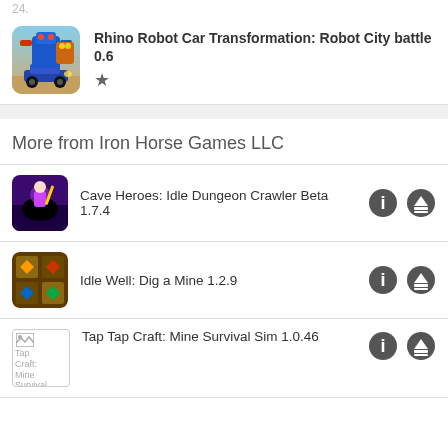24.
[Figure (illustration): App icon for Rhino Robot Car Transformation showing a blue robot and car]
Rhino Robot Car Transformation: Robot City battle 0.6
★
More from Iron Horse Games LLC
[Figure (illustration): App icon for Cave Heroes: Idle Dungeon Crawler Beta]
Cave Heroes: Idle Dungeon Crawler Beta 1.7.4
[Figure (illustration): App icon for Idle Well: Dig a Mine]
Idle Well: Dig a Mine 1.2.9
[Figure (illustration): Broken image for Tap Tap Craft: Mine Survival Sim]
Tap Tap Craft: Mine Survival Sim 1.0.46